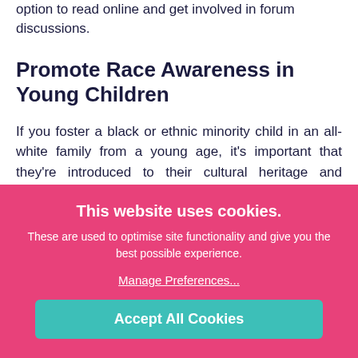option to read online and get involved in forum discussions.
Promote Race Awareness in Young Children
If you foster a black or ethnic minority child in an all-white family from a young age, it's important that they're introduced to their cultural heritage and encouraged to explore their identity. As they get older, they'll naturally become more interested
This website uses cookies.
These are used to optimise site functionality and give you the best possible experience.
Manage Preferences...
Accept All Cookies